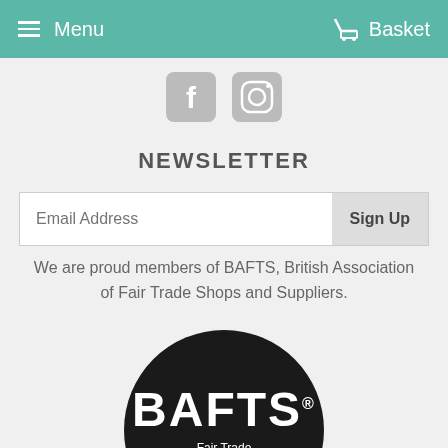Menu | Basket
[Figure (illustration): Social media icons: Facebook and Instagram, shown in grey]
NEWSLETTER
Email Address  Sign Up
We are proud members of BAFTS, British Association of Fair Trade Shops and Suppliers.
[Figure (logo): BAFTS Fair Trade Network UK circular logo with white text on black background]